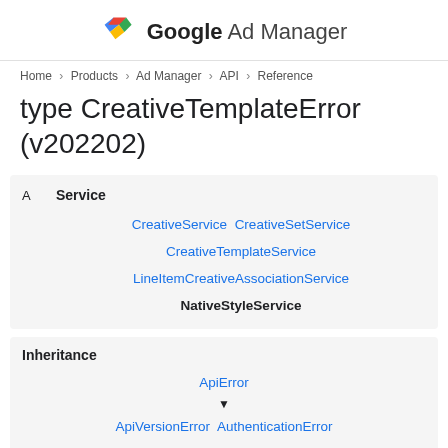Google Ad Manager
Home > Products > Ad Manager > API > Reference
type CreativeTemplateError (v202202)
| Service |
| --- |
| CreativeService CreativeSetService CreativeTemplateService LineItemCreativeAssociationService NativeStyleService |
| Inheritance |
| --- |
| ApiError | ▼ | ApiVersionError AuthenticationError CollectionSizeError CommonError |